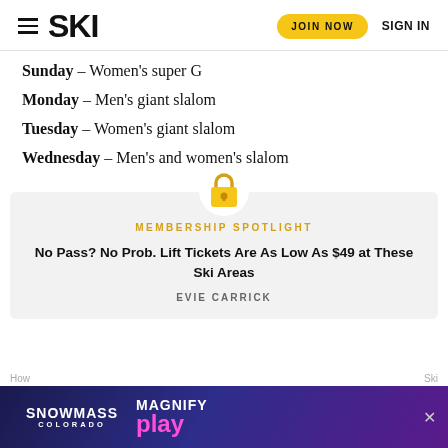SKI — JOIN NOW | SIGN IN
Sunday – Women's super G
Monday – Men's giant slalom
Tuesday – Women's giant slalom
Wednesday – Men's and women's slalom
[Figure (illustration): Gold padlock icon centered above membership spotlight box]
MEMBERSHIP SPOTLIGHT
No Pass? No Prob. Lift Tickets Are As Low As $49 at These Ski Areas
EVIE CARRICK
[Figure (illustration): Snowmass Colorado / Magnify Play advertisement banner at bottom]